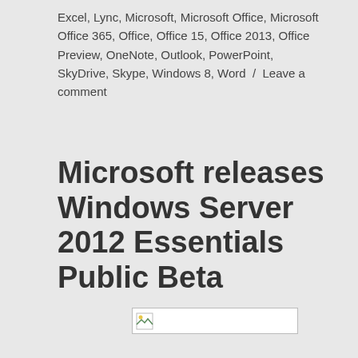Excel, Lync, Microsoft, Microsoft Office, Microsoft Office 365, Office, Office 15, Office 2013, Office Preview, OneNote, Outlook, PowerPoint, SkyDrive, Skype, Windows 8, Word / Leave a comment
Microsoft releases Windows Server 2012 Essentials Public Beta
[Figure (other): Broken/missing image placeholder rectangle]